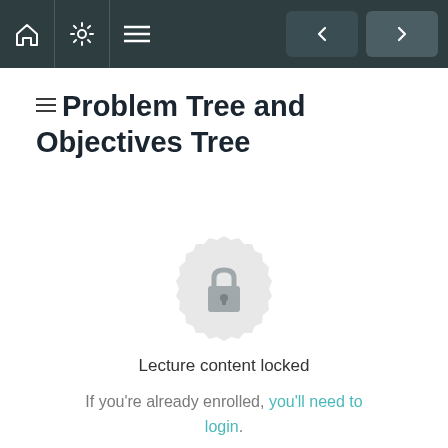Navigation bar with home, settings, menu icons and back/forward buttons
Problem Tree and Objectives Tree
[Figure (illustration): A circular badge/medallion icon with a padlock in the center, rendered in light gray, indicating locked content]
Lecture content locked
If you're already enrolled, you'll need to login.